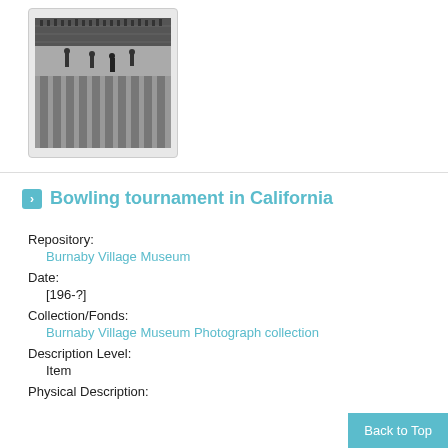[Figure (photo): Black and white photograph of a bowling tournament, showing bowling lanes with people, possibly in California.]
Bowling tournament in California
Repository:
Burnaby Village Museum
Date:
[196-?]
Collection/Fonds:
Burnaby Village Museum Photograph collection
Description Level:
Item
Physical Description:
Back to Top